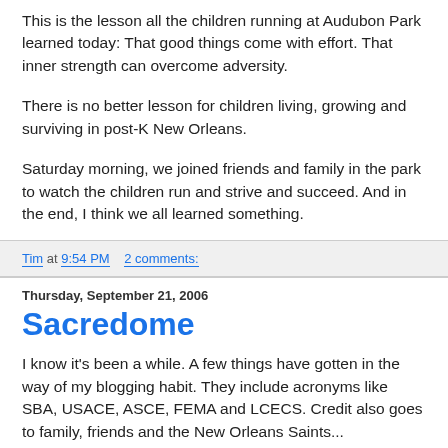This is the lesson all the children running at Audubon Park learned today: That good things come with effort. That inner strength can overcome adversity.
There is no better lesson for children living, growing and surviving in post-K New Orleans.
Saturday morning, we joined friends and family in the park to watch the children run and strive and succeed. And in the end, I think we all learned something.
Tim at 9:54 PM    2 comments:
Thursday, September 21, 2006
Sacredome
I know it's been a while. A few things have gotten in the way of my blogging habit. They include acronyms like SBA, USACE, ASCE, FEMA and LCECS. Credit also goes to family, friends and the New Orleans Saints...